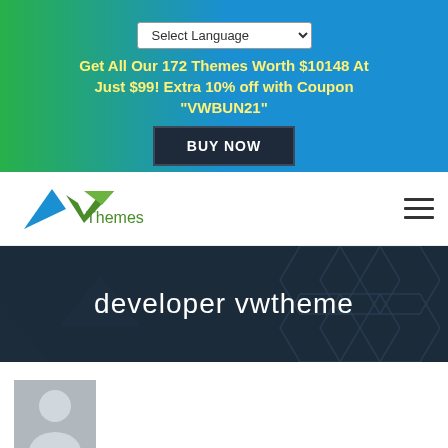[Figure (screenshot): Language selector dropdown showing 'Select Language']
Get All Our 172 Themes Worth $10148 At Just $99! Extra 10% off with Coupon "VWBUN21"
BUY NOW
[Figure (logo): VW Themes logo with blue/green geometric W shape and 'Themes' text]
[Figure (other): Hamburger menu icon (three horizontal lines)]
developer vwtheme
[Figure (photo): Default user avatar placeholder — grey background with white silhouette of a person]